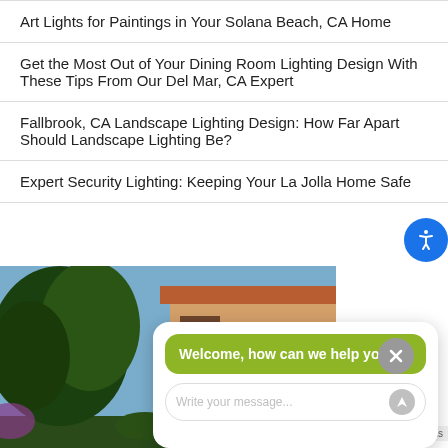Art Lights for Paintings in Your Solana Beach, CA Home
Get the Most Out of Your Dining Room Lighting Design With These Tips From Our Del Mar, CA Expert
Fallbrook, CA Landscape Lighting Design: How Far Apart Should Landscape Lighting Be?
Expert Security Lighting: Keeping Your La Jolla Home Safe
[Figure (photo): Exterior photo of a Spanish-style home with landscape lighting and trees at dusk, overlaid with a chat widget saying 'Welcome, how can we help you?' and a message input field.]
Landscape Lighting Gallery